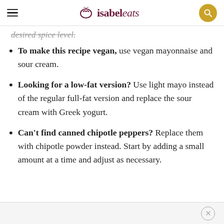isabel eats
desired spice level.
To make this recipe vegan, use vegan mayonnaise and sour cream.
Looking for a low-fat version? Use light mayo instead of the regular full-fat version and replace the sour cream with Greek yogurt.
Can't find canned chipotle peppers? Replace them with chipotle powder instead. Start by adding a small amount at a time and adjust as necessary.